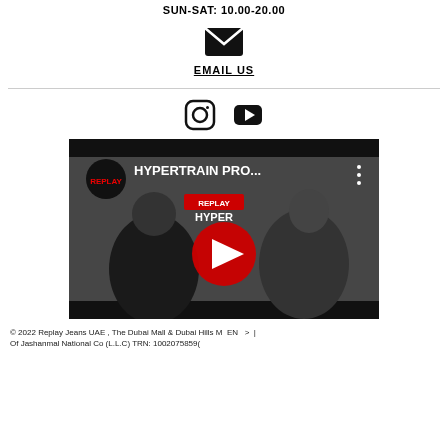SUN-SAT: 10.00-20.00
[Figure (illustration): Email envelope icon (black)]
EMAIL US
[Figure (illustration): Instagram icon and YouTube play button icon (social media icons)]
[Figure (screenshot): YouTube video thumbnail showing REPLAY brand - HYPERTRAIN PRO... video with two models in dark clothing on a grey background, with YouTube play button overlay]
© 2022 Replay Jeans UAE , The Dubai Mall & Dubai Hills M... Of Jashanmal National Co (L.L.C) TRN: 1002075859...